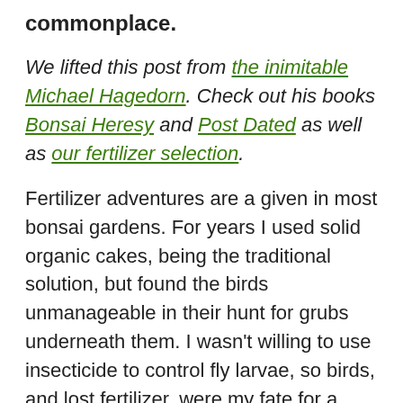commonplace.
We lifted this post from the inimitable Michael Hagedorn. Check out his books Bonsai Heresy and Post Dated as well as our fertilizer selection.
Fertilizer adventures are a given in most bonsai gardens. For years I used solid organic cakes, being the traditional solution, but found the birds unmanageable in their hunt for grubs underneath them. I wasn't willing to use insecticide to control fly larvae, so birds, and lost fertilizer, were my fate for a while.
Now there's a cat in the garden. It's a quite well-